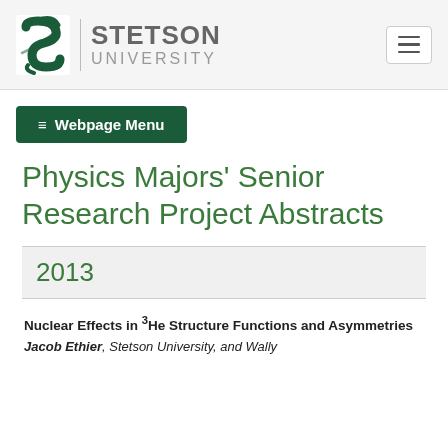[Figure (logo): Stetson University logo with green stylized S icon and university name]
STETSON UNIVERSITY
≡ Webpage Menu
Physics Majors' Senior Research Project Abstracts
2013
Nuclear Effects in 3He Structure Functions and Asymmetries
Jacob Ethier, Stetson University, and Wally